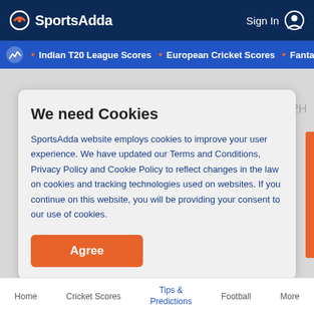SportsAdda | Sign In
• Indian T20 League Scores • European Cricket Scores • Fantasy C
Coin Toss and H2H
We need Cookies
SportsAdda website employs cookies to improve your user experience. We have updated our Terms and Conditions, Privacy Policy and Cookie Policy to reflect changes in the law on cookies and tracking technologies used on websites. If you continue on this website, you will be providing your consent to our use of cookies.
Agree
Home   Cricket Scores   Tips & Predictions   Football   More